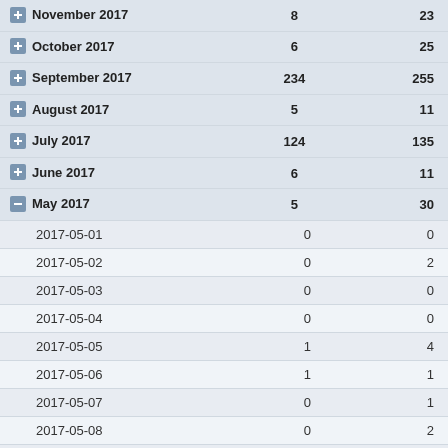|  |  |  |
| --- | --- | --- |
| November 2017 | 8 | 23 |
| October 2017 | 6 | 25 |
| September 2017 | 234 | 255 |
| August 2017 | 5 | 11 |
| July 2017 | 124 | 135 |
| June 2017 | 6 | 11 |
| May 2017 | 5 | 30 |
| 2017-05-01 | 0 | 0 |
| 2017-05-02 | 0 | 2 |
| 2017-05-03 | 0 | 0 |
| 2017-05-04 | 0 | 0 |
| 2017-05-05 | 1 | 4 |
| 2017-05-06 | 1 | 1 |
| 2017-05-07 | 0 | 1 |
| 2017-05-08 | 0 | 2 |
| 2017-05-09 | 0 | 0 |
| 2017-05-10 | 0 | 0 |
| 2017-05-11 | 0 | 1 |